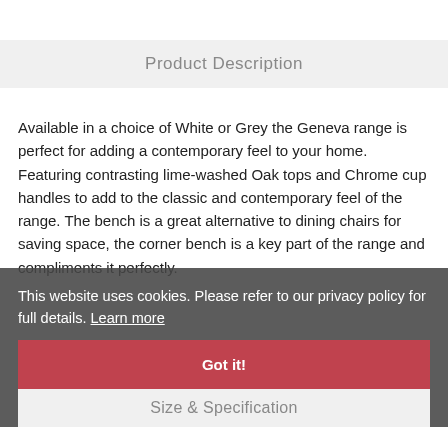Product Description
Available in a choice of White or Grey the Geneva range is perfect for adding a contemporary feel to your home. Featuring contrasting lime-washed Oak tops and Chrome cup handles to add to the classic and contemporary feel of the range. The bench is a great alternative to dining chairs for saving space, the corner bench is a key part of the range and compliments it perfectly.
This website uses cookies. Please refer to our privacy policy for full details. Learn more
Got it!
Size & Specification